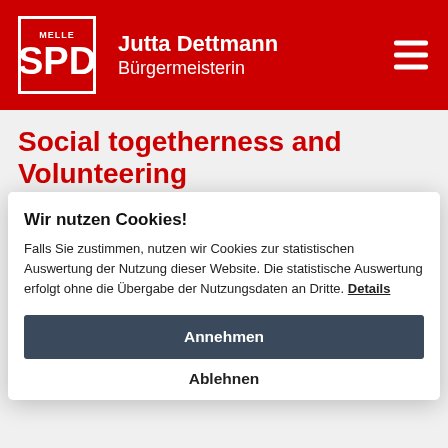MELLE SPD — Jutta Dettmann Bürgermeisterin
Social togetherness and Volunteering
Social togetherness and Volunteering
Wir nutzen Cookies!
Falls Sie zustimmen, nutzen wir Cookies zur statistischen Auswertung der Nutzung dieser Website. Die statistische Auswertung erfolgt ohne die Übergabe der Nutzungsdaten an Dritte. Details
Annehmen
Ablehnen
– strengthen Clubs and Organizations: Our society thrives from the mainly voluntary activities of its clubs. It is important to me to support the ideas and activities of clubs and volunteers – especially as we exit this pandemic